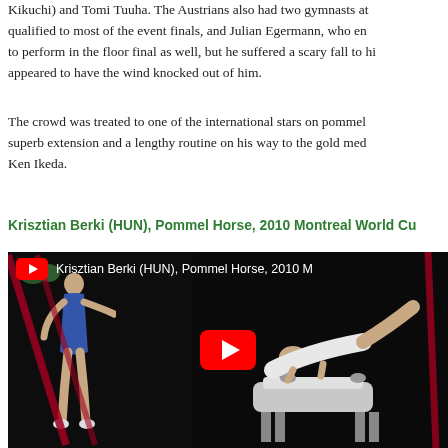Kikuchi) and Tomi Tuuha. The Austrians also had two gymnasts at qualified to most of the event finals, and Julian Egermann, who en to perform in the floor final as well, but he suffered a scary fall to hi appeared to have the wind knocked out of him.
The crowd was treated to one of the international stars on pommel superb extension and a lengthy routine on his way to the gold med Ken Ikeda.
Krisztian Berki (HUN), Pommel Horse, 2010 Montreal World Cu
[Figure (screenshot): YouTube video thumbnail showing Krisztian Berki (HUN), Pommel Horse, 2010 Montreal World Cup. The thumbnail shows a gymnast on the left side in a blue leotard standing upright, and another gymnast performing on a pommel horse on the right side. A red YouTube play button is centered on the image. The background is dark/black.]